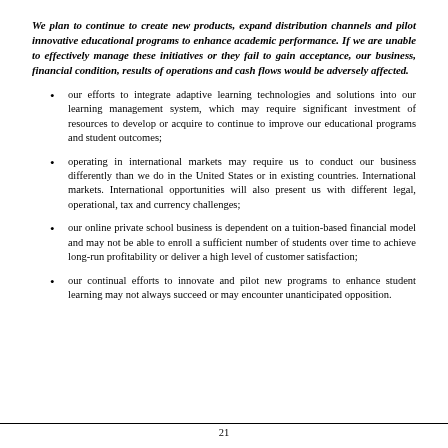We plan to continue to create new products, expand distribution channels and pilot innovative educational programs to enhance academic performance. If we are unable to effectively manage these initiatives or they fail to gain acceptance, our business, financial condition, results of operations and cash flows would be adversely affected.
our efforts to integrate adaptive learning technologies and solutions into our learning management system, which may require significant investment of resources to develop or acquire to continue to improve our educational programs and student outcomes;
operating in international markets may require us to conduct our business differently than we do in the United States or in existing countries. International markets. International opportunities will also present us with different legal, operational, tax and currency challenges;
our online private school business is dependent on a tuition-based financial model and may not be able to enroll a sufficient number of students over time to achieve long-run profitability or deliver a high level of customer satisfaction;
our continual efforts to innovate and pilot new programs to enhance student learning may not always succeed or may encounter unanticipated opposition.
21